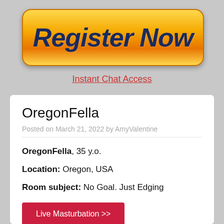[Figure (other): Orange gradient 'Register Now' button with bold italic dark blue text]
Instant Chat Access
OregonFella
Posted on March 21, 2022 by AmyValentine
OregonFella, 35 y.o.
Location: Oregon, USA
Room subject: No Goal. Just Edging
Live Masturbation >>